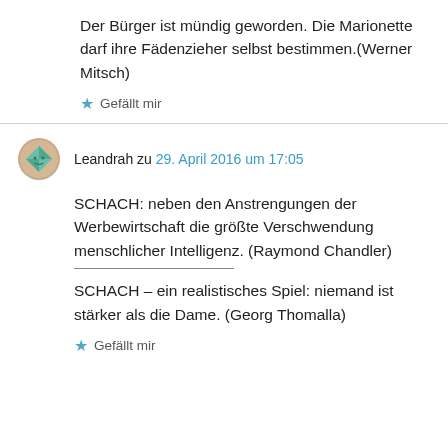Der Bürger ist mündig geworden. Die Marionette darf ihre Fädenzieher selbst bestimmen.(Werner Mitsch)
★ Gefällt mir
Leandrah zu 29. April 2016 um 17:05
SCHACH: neben den Anstrengungen der Werbewirtschaft die größte Verschwendung menschlicher Intelligenz. (Raymond Chandler)
SCHACH – ein realistisches Spiel: niemand ist stärker als die Dame. (Georg Thomalla)
★ Gefällt mir